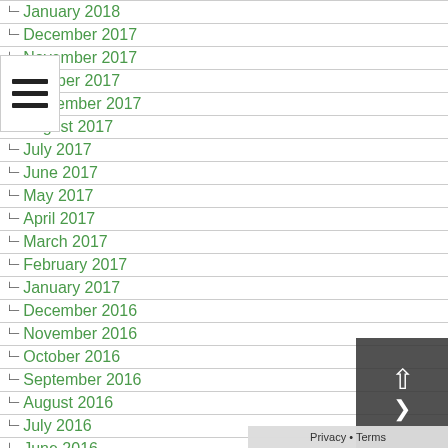January 2018
December 2017
November 2017
October 2017
September 2017
August 2017
July 2017
June 2017
May 2017
April 2017
March 2017
February 2017
January 2017
December 2016
November 2016
October 2016
September 2016
August 2016
July 2016
June 2016
May 2016
April 2016